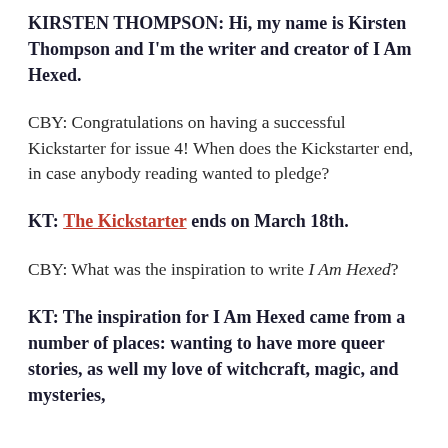KIRSTEN THOMPSON: Hi, my name is Kirsten Thompson and I'm the writer and creator of I Am Hexed.
CBY: Congratulations on having a successful Kickstarter for issue 4! When does the Kickstarter end, in case anybody reading wanted to pledge?
KT: The Kickstarter ends on March 18th.
CBY: What was the inspiration to write I Am Hexed?
KT: The inspiration for I Am Hexed came from a number of places: wanting to have more queer stories, as well my love of witchcraft, magic, and mysteries,